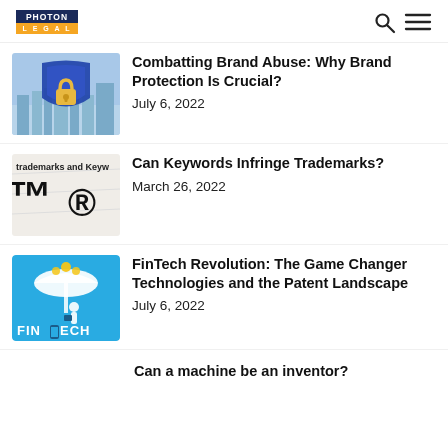PHOTON LEGAL
[Figure (illustration): Brand protection illustration with shield and lock icon on blue background]
Combatting Brand Abuse: Why Brand Protection Is Crucial?
July 6, 2022
[Figure (illustration): Trademarks and Keywords image showing TM and R trademark symbols]
Can Keywords Infringe Trademarks?
March 26, 2022
[Figure (illustration): FinTech illustration with blue background showing FINTECH logo and business figures]
FinTech Revolution: The Game Changer Technologies and the Patent Landscape
July 6, 2022
Can a machine be an inventor?